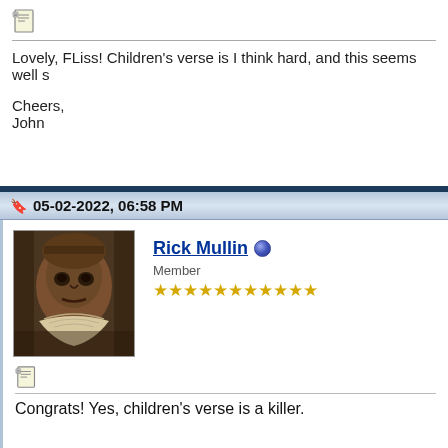[Figure (illustration): Document/post icon]
Lovely, FLiss! Children's verse is I think hard, and this seems well s
Cheers,
John
05-02-2022, 06:58 PM
[Figure (photo): Avatar image of Rick Mullin - abstract/expressionist portrait painting]
Rick Mullin
Member
★★★★★★★★★★★
[Figure (illustration): Document/post icon]
Congrats! Yes, children's verse is a killer.
05-02-2022, 07:36 PM